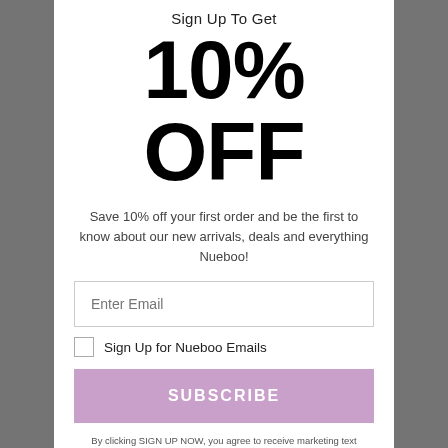Sign Up To Get
10% OFF
Save 10% off your first order and be the first to know about our new arrivals, deals and everything Nueboo!
Enter Email
Sign Up for Nueboo Emails
SUBSCRIBE
By clicking SIGN UP NOW, you agree to receive marketing text messages from Nueboo Boob Tape at the number provided,